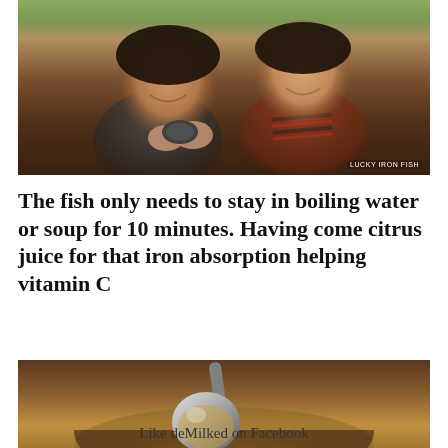[Figure (photo): Two smiling children (girls) outdoors in a field, one holding a small dark iron fish object. Photo credit: LUCKY IRON FISH]
The fish only needs to stay in boiling water or soup for 10 minutes. Having come citrus juice for that iron absorption helping vitamin C
[Figure (photo): Close-up of a large metal ladle or spoon stirring a pot of yellow/orange soup or curry on a stove.]
Like deMilked on Facebook